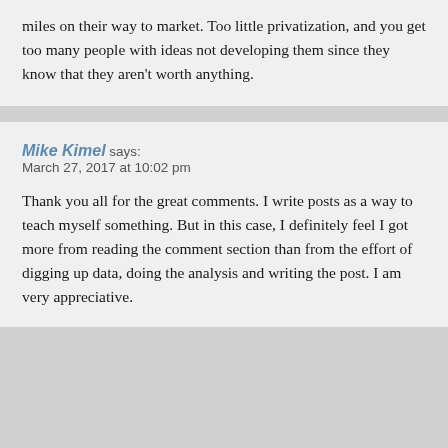miles on their way to market. Too little privatization, and you get too many people with ideas not developing them since they know that they aren't worth anything.
Mike Kimel says: March 27, 2017 at 10:02 pm
Thank you all for the great comments. I write posts as a way to teach myself something. But in this case, I definitely feel I got more from reading the comment section than from the effort of digging up data, doing the analysis and writing the post. I am very appreciative.